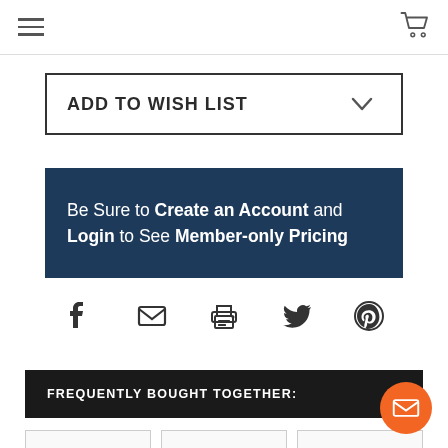Navigation header with hamburger menu and shopping cart
ADD TO WISH LIST
[Figure (infographic): Dark navy banner reading: Be Sure to Create an Account and Login to See Member-only Pricing]
[Figure (infographic): Row of social sharing icons: Facebook, Email, Print, Twitter, Pinterest]
FREQUENTLY BOUGHT TOGETHER:
[Figure (other): Three product image placeholder boxes at bottom]